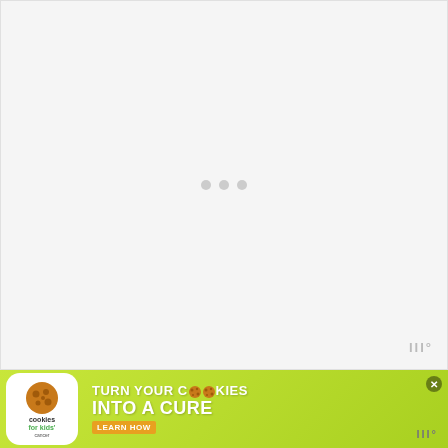[Figure (screenshot): White/light gray image loading area with three small gray loading dots in the center and a watermark logo at bottom right]
[Figure (screenshot): Advertisement banner: 'cookies for kids cancer - turn your COOKIES into a CURE LEARN HOW' with green background, cookie logo on left, and close button]
This cat features a longer bob-head t...